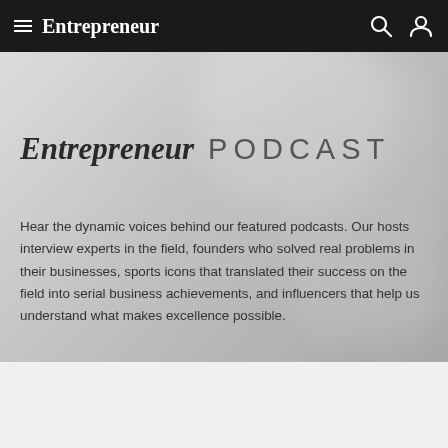Entrepreneur
Entrepreneur PODCAST
Hear the dynamic voices behind our featured podcasts. Our hosts interview experts in the field, founders who solved real problems in their businesses, sports icons that translated their success on the field into serial business achievements, and influencers that help us understand what makes excellence possible.